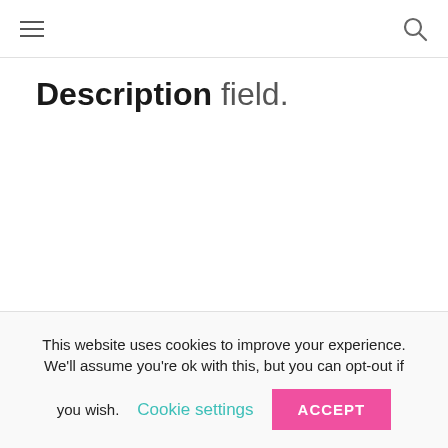≡  🔍
Description field.
This website uses cookies to improve your experience. We'll assume you're ok with this, but you can opt-out if you wish. Cookie settings ACCEPT